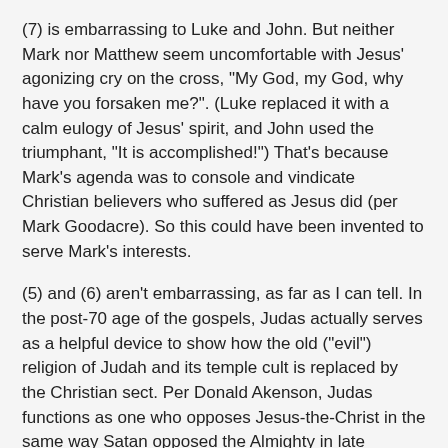(7) is embarrassing to Luke and John. But neither Mark nor Matthew seem uncomfortable with Jesus' agonizing cry on the cross, "My God, my God, why have you forsaken me?". (Luke replaced it with a calm eulogy of Jesus' spirit, and John used the triumphant, "It is accomplished!") That's because Mark's agenda was to console and vindicate Christian believers who suffered as Jesus did (per Mark Goodacre). So this could have been invented to serve Mark's interests.
(5) and (6) aren't embarrassing, as far as I can tell. In the post-70 age of the gospels, Judas actually serves as a helpful device to show how the old ("evil") religion of Judah and its temple cult is replaced by the Christian sect. Per Donald Akenson, Judas functions as one who opposes Jesus-the-Christ in the same way Satan opposed the Almighty in late Second Temple mythology. As for Peter, his behavior squares with Mark's agenda in showing the consequences of denying Christ in times of suffering; it also functions as wonderful (anti-Peter) propaganda amidst factional battles for control of the church.